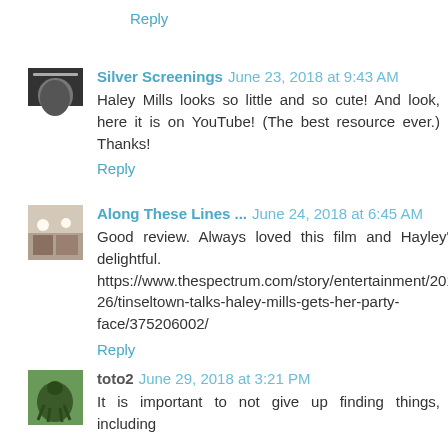Reply
Silver Screenings  June 23, 2018 at 9:43 AM
Haley Mills looks so little and so cute! And look, here it is on YouTube! (The best resource ever.) Thanks!
Reply
Along These Lines ...  June 24, 2018 at 6:45 AM
Good review. Always loved this film and Hayley's still delightful.
https://www.thespectrum.com/story/entertainment/2018/02/26/tinseltown-talks-haley-mills-gets-her-party-face/375206002/
Reply
toto2  June 29, 2018 at 3:21 PM
It is important to not give up finding things, including